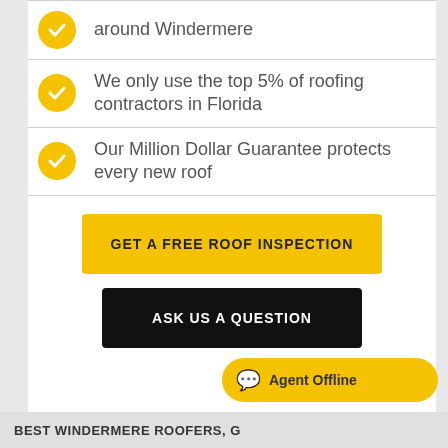around Windermere
We only use the top 5% of roofing contractors in Florida
Our Million Dollar Guarantee protects every new roof
GET A FREE ROOF INSPECTION
ASK US A QUESTION
BEST WINDERMERE ROOFERS, G…